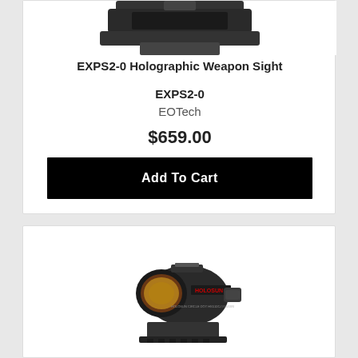[Figure (photo): EOTech holographic weapon sight product photo, partially cropped at top]
EXPS2-0 Holographic Weapon Sight
EXPS2-0
EOTech
$659.00
Add To Cart
[Figure (photo): Holosun red dot sight product photo showing compact circular sight with yellow/amber lens and Holosun branding on a rail mount]